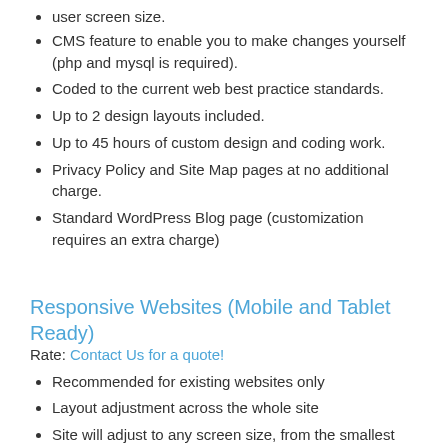user screen size.
CMS feature to enable you to make changes yourself (php and mysql is required).
Coded to the current web best practice standards.
Up to 2 design layouts included.
Up to 45 hours of custom design and coding work.
Privacy Policy and Site Map pages at no additional charge.
Standard WordPress Blog page (customization requires an extra charge)
Responsive Websites (Mobile and Tablet Ready)
Rate: Contact Us for a quote!
Recommended for existing websites only
Layout adjustment across the whole site
Site will adjust to any screen size, from the smallest